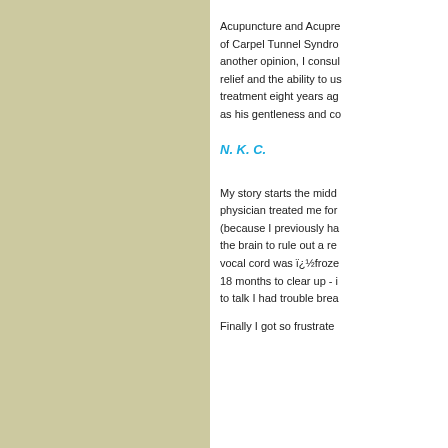Acupuncture and Acupre of Carpel Tunnel Syndro another opinion, I consul relief and the ability to us treatment eight years ag as his gentleness and co
N. K. C.
My story starts the midd physician treated me for (because I previously ha the brain to rule out a re vocal cord was ï¿½froze 18 months to clear up - i to talk I had trouble brea
Finally I got so frustrate